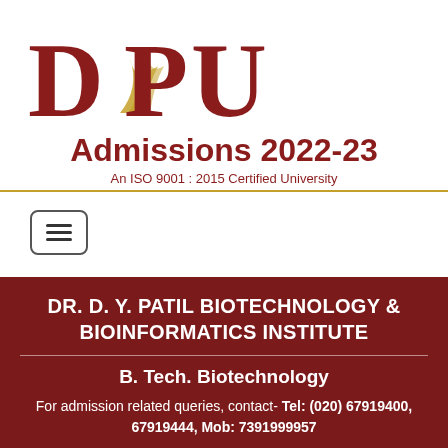[Figure (logo): DPU logo with large serif bold text in dark red/maroon with decorative golden swirl element]
Admissions 2022-23
An ISO 9001 : 2015 Certified University
[Figure (other): Hamburger menu button icon with three horizontal lines inside a rounded rectangle border]
DR. D. Y. PATIL BIOTECHNOLOGY & BIOINFORMATICS INSTITUTE
B. Tech. Biotechnology
For admission related queries, contact- Tel: (020) 67919400, 67919444, Mob: 7391999957